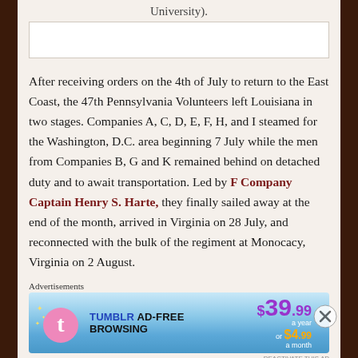University).
After receiving orders on the 4th of July to return to the East Coast, the 47th Pennsylvania Volunteers left Louisiana in two stages. Companies A, C, D, E, F, H, and I steamed for the Washington, D.C. area beginning 7 July while the men from Companies B, G and K remained behind on detached duty and to await transportation. Led by F Company Captain Henry S. Harte, they finally sailed away at the end of the month, arrived in Virginia on 28 July, and reconnected with the bulk of the regiment at Monocacy, Virginia on 2 August.
Advertisements
[Figure (infographic): Tumblr Ad-Free Browsing advertisement banner: $39.99 a year or $4.99 a month]